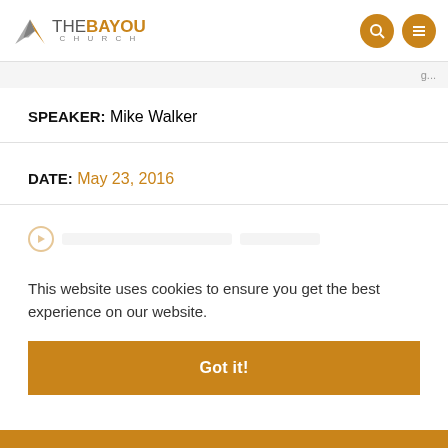THE BAYOU CHURCH
SPEAKER: Mike Walker
DATE: May 23, 2016
This website uses cookies to ensure you get the best experience on our website.
Got it!